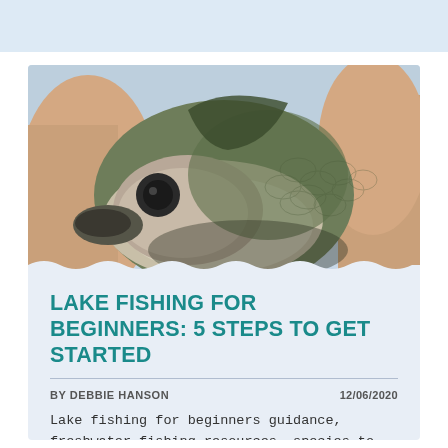[Figure (photo): Close-up photo of a person holding a large freshwater fish (bass), showing the fish's silvery-green belly and scales against a blurred background.]
LAKE FISHING FOR BEGINNERS: 5 STEPS TO GET STARTED
BY DEBBIE HANSON    12/06/2020
Lake fishing for beginners guidance, freshwater fishing resources, species to target, lake...